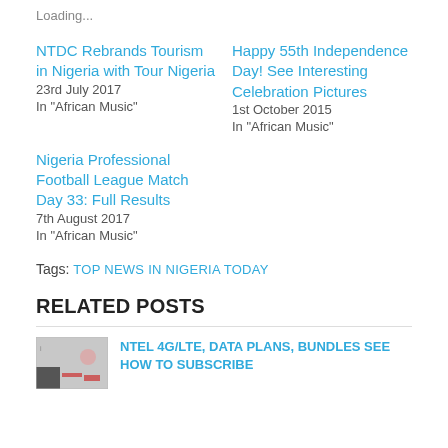Loading...
NTDC Rebrands Tourism in Nigeria with Tour Nigeria
23rd July 2017
In "African Music"
Happy 55th Independence Day! See Interesting Celebration Pictures
1st October 2015
In "African Music"
Nigeria Professional Football League Match Day 33: Full Results
7th August 2017
In "African Music"
Tags: TOP NEWS IN NIGERIA TODAY
RELATED POSTS
NTEL 4G/LTE, DATA PLANS, BUNDLES SEE HOW TO SUBSCRIBE